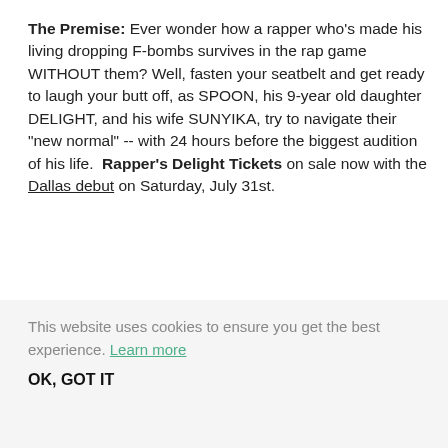The Premise: Ever wonder how a rapper who's made his living dropping F-bombs survives in the rap game WITHOUT them? Well, fasten your seatbelt and get ready to laugh your butt off, as SPOON, his 9-year old daughter DELIGHT, and his wife SUNYIKA, try to navigate their "new normal" -- with 24 hours before the biggest audition of his life. Rapper's Delight Tickets on sale now with the Dallas debut on Saturday, July 31st.
Current 2021-22 SHOWS/TICKETS
DALLAS  Saturday, July 31 @ 5:30 + 8:00 Pm CLICK HERE For Ticket Information, Location And Details.
This website uses cookies to ensure you get the best experience. Learn more
OK, GOT IT